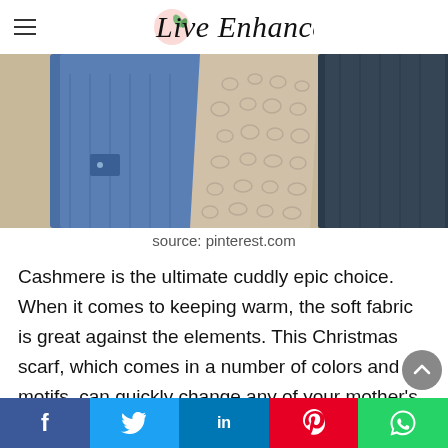Live Enhanced
[Figure (photo): Photo of knitted/crocheted lace shawl draped over denim jackets hanging on a wall]
source: pinterest.com
Cashmere is the ultimate cuddly epic choice. When it comes to keeping warm, the soft fabric is great against the elements. This Christmas scarf, which comes in a number of colors and motifs, can quickly change any of your mother's best winter jackets. All she needs now is one of